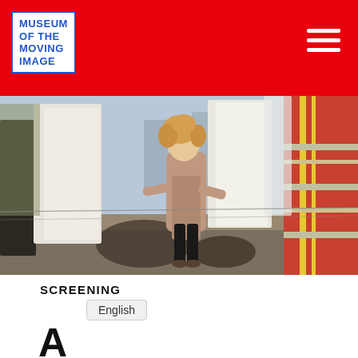MUSEUM OF THE MOVING IMAGE
[Figure (photo): A woman with curly blonde hair wearing a long beige coat stands on a rooftop or terrace among hanging laundry and textiles. City buildings are visible in the background. The scene is lit with warm sunlight.]
SCREENING
English
A/D